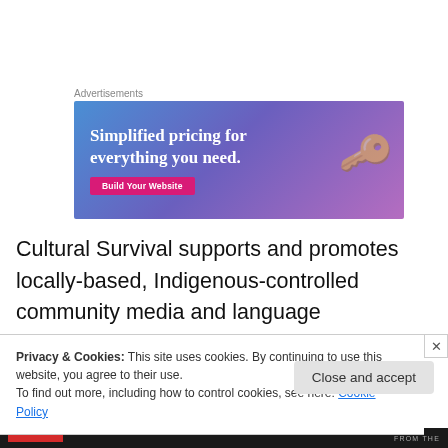Advertisements
[Figure (illustration): Advertisement banner with gradient blue-purple background showing text 'Simplified pricing for everything you need.' with a pink 'Build Your Website' button and a hand holding keys on the right side.]
Cultural Survival supports and promotes locally-based, Indigenous-controlled community media and language revitalization efforts aimed at training new generations of
Privacy & Cookies: This site uses cookies. By continuing to use this website, you agree to their use.
To find out more, including how to control cookies, see here: Cookie Policy
Close and accept